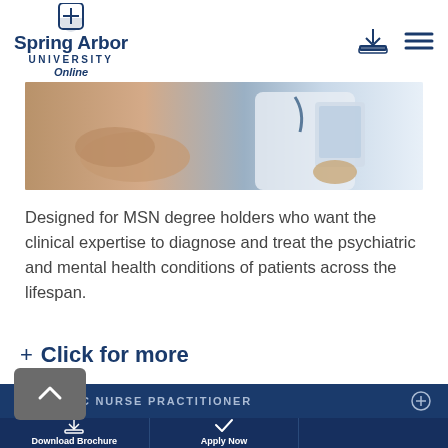[Figure (logo): Spring Arbor University Online logo with shield/cross icon]
[Figure (photo): Healthcare professional with patient — doctor holding tablet, patient with hands clasped]
Designed for MSN degree holders who want the clinical expertise to diagnose and treat the psychiatric and mental health conditions of patients across the lifespan.
+ Click for more
PEDIATRIC NURSE PRACTITIONER
Download Brochure
Apply Now